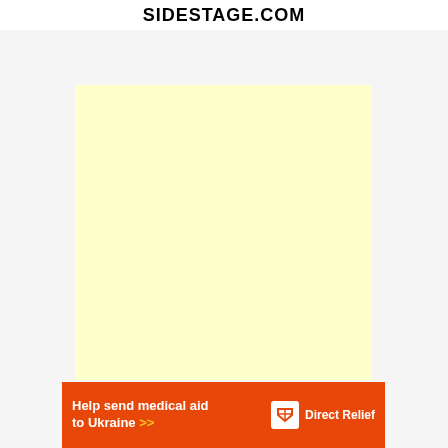SIDESTAGE.COM
[Figure (other): Light yellow advertisement placeholder block]
[Figure (other): Orange banner advertisement: Help send medical aid to Ukraine >> with Direct Relief logo]